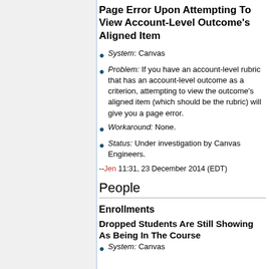Page Error Upon Attempting To View Account-Level Outcome's Aligned Item
System: Canvas
Problem: If you have an account-level rubric that has an account-level outcome as a criterion, attempting to view the outcome's aligned item (which should be the rubric) will give you a page error.
Workaround: None.
Status: Under investigation by Canvas Engineers.
--Jen 11:31, 23 December 2014 (EDT)
People
Enrollments
Dropped Students Are Still Showing As Being In The Course
System: Canvas